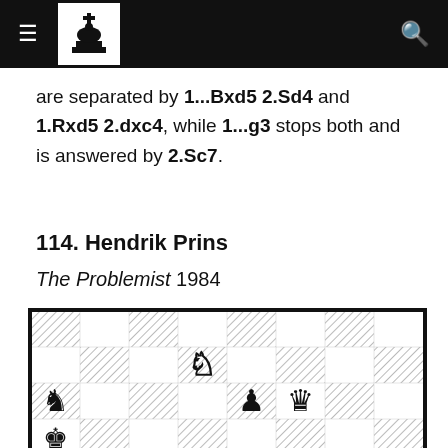Chess problem site header with logo and search
are separated by 1...Bxd5 2.Sd4 and 1.Rxd5 2.dxc4, while 1...g3 stops both and is answered by 2.Sc7.
114. Hendrik Prins
The Problemist 1984
[Figure (other): Chess board diagram showing a chess problem position with pieces: white knight on d5, black knight on a4, black pawn on e3, black queen on f3, black king on a1]